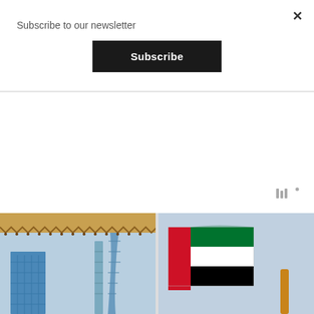Subscribe to our newsletter
Subscribe
[Figure (photo): Two side-by-side photos: left shows Abu Dhabi skyscrapers (including the twisted tower) with a traditional garment fringe in the foreground; right shows a UAE flag waving with a tennis racket handle visible in the corner, blue sky background.]